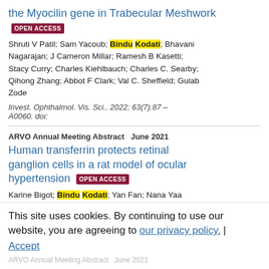the Myocilin gene in Trabecular Meshwork OPEN ACCESS
Shruti V Patil; Sam Yacoub; Bindu Kodati; Bhavani Nagarajan; J Cameron Millar; Ramesh B Kasetti; Stacy Curry; Charles Kiehlbauch; Charles C. Searby; Qihong Zhang; Abbot F Clark; Val C. Sheffield; Gulab Zode
Invest. Ophthalmol. Vis. Sci.. 2022; 63(7):87 – A0060. doi:
ARVO Annual Meeting Abstract   June 2021
Human transferrin protects retinal ganglion cells in a rat model of ocular hypertension OPEN ACCESS
Karine Bigot; Bindu Kodati; Yan Fan; Nana Yaa
Nsioh; Nathaniel Poppenhagen; Denise M Inman;
This site uses cookies. By continuing to use our website, you are agreeing to our privacy policy. Accept
ARVO Annual Meeting Abstract   June 2021